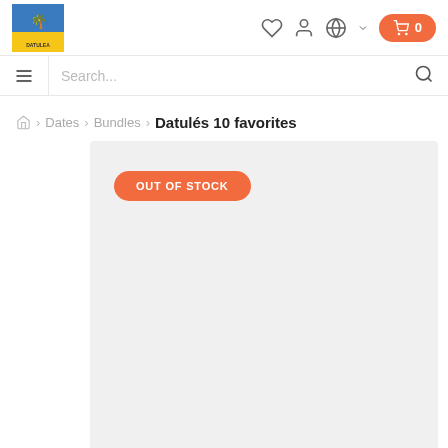Datulés store header with logo, wishlist, account, language, and cart (0) icons
Search...
Home > Dates > Bundles > Datulés 10 favorites
Datulés 10 favorites
[Figure (screenshot): Product image area with light grey background and 'OUT OF STOCK' orange button overlay]